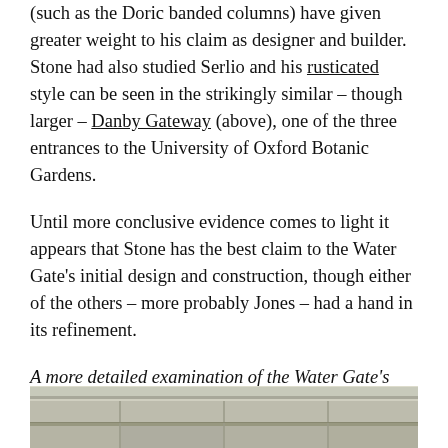(such as the Doric banded columns) have given greater weight to his claim as designer and builder. Stone had also studied Serlio and his rusticated style can be seen in the strikingly similar – though larger – Danby Gateway (above), one of the three entrances to the University of Oxford Botanic Gardens.
Until more conclusive evidence comes to light it appears that Stone has the best claim to the Water Gate's initial design and construction, though either of the others – more probably Jones – had a hand in its refinement.
A more detailed examination of the Water Gate's design – including a preparatory drawing attributed to Stone – can be read at the Sir John Soane Museum website, here.
[Figure (photo): Partial photograph of a stone architectural structure, showing rusticated masonry columns or entablature, visible at the bottom of the page.]